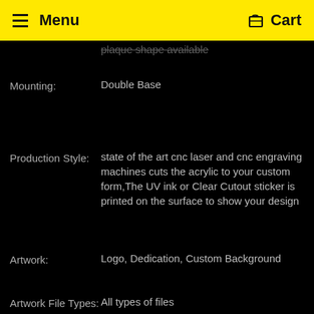Menu  Cart
plaque shape available
Mounting:  Double Base
Production Style:  state of the art cnc laser and cnc engraving machines cuts the acrylic to your custom form,The UV ink or Clear Cutout sticker is printed on the surface to show your design
Artwork:  Logo, Dedication, Custom Background
Artwork File Types:  All types of files
Corporate Awards, Academic